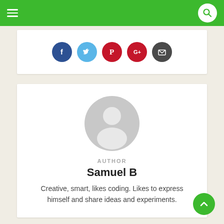Navigation bar with hamburger menu and search icon
[Figure (infographic): Social share buttons: Facebook (dark blue), Twitter (light blue), Pinterest (red), Google+ (dark red), Email (dark grey) — five circular icon buttons]
[Figure (illustration): Generic grey user avatar silhouette — circular profile placeholder image]
AUTHOR
Samuel B
Creative, smart, likes coding. Likes to express himself and share ideas and experiments.